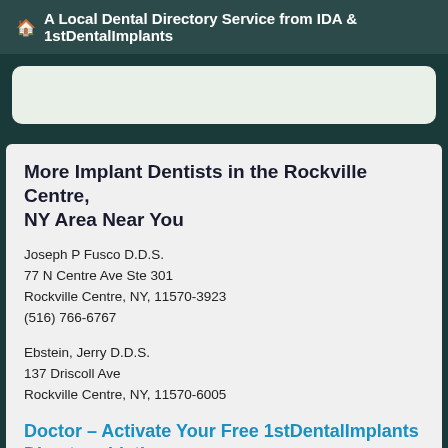A Local Dental Directory Service from IDA & 1stDentalImplants
More Implant Dentists in the Rockville Centre, NY Area Near You
Joseph P Fusco D.D.S.
77 N Centre Ave Ste 301
Rockville Centre, NY, 11570-3923
(516) 766-6767
Ebstein, Jerry D.D.S.
137 Driscoll Ave
Rockville Centre, NY, 11570-6005
Doctor - Activate Your Free 1stDentalImplants Directory Listing
Pergola, Steven G D.D.S.